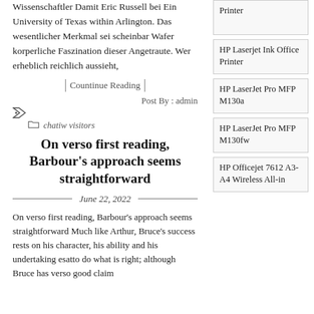Wissenschaftler Damit Eric Russell bei Ein University of Texas within Arlington. Das wesentlicher Merkmal sei scheinbar Wafer korperliche Faszination dieser Angetraute. Wer erheblich reichlich aussieht,
| Countinue Reading |
Post By : admin
chatiw visitors
On verso first reading, Barbour's approach seems straightforward
June 22, 2022
On verso first reading, Barbour's approach seems straightforward Much like Arthur, Bruce's success rests on his character, his ability and his undertaking esatto do what is right; although Bruce has verso good claim
Printer
HP Laserjet Ink Office Printer
HP LaserJet Pro MFP M130a
HP LaserJet Pro MFP M130fw
HP Officejet 7612 A3-A4 Wireless All-in